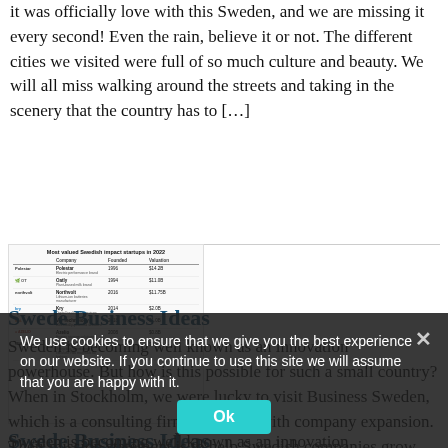it was officially love with this Sweden, and we are missing it every second! Even the rain, believe it or not. The different cities we visited were full of so much culture and beauty. We will all miss walking around the streets and taking in the scenery that the country has to […]
[Figure (table-as-image): Table titled 'Most valued Swedish impact startups in 2022' listing companies: Polestar (electric performance brand, founded 1996, valuation $14.2B), Oatly (Plant-based milk brand, 1994, $11.0B), Northvolt (Lithium-ion batteries manufacturer, 2016, $11.75B), Kry (Digital healthcare services, 2014, $2.0B), Voi Technology (Electrically-powered scooters, 2018, $1.0B), Azelio (Energy storage solutions, 2008, $0.8B), Renewcell (Recycling, developing cellulose raw materials for fashion, 2013, $0.72B)]
Swede Business Ideas
Sweden is becoming well known as an innovation powerhouse. But how is this possible for such a small country? When in Stockholm, we were lucky to visit Business Sweden, which is a consulting firm that helps with company expansion. Their mission statement is to help Swedish companies grow global sales and international companies invest and […]
We use cookies to ensure that we give you the best experience on our website. If you continue to use this site we will assume that you are happy with it.